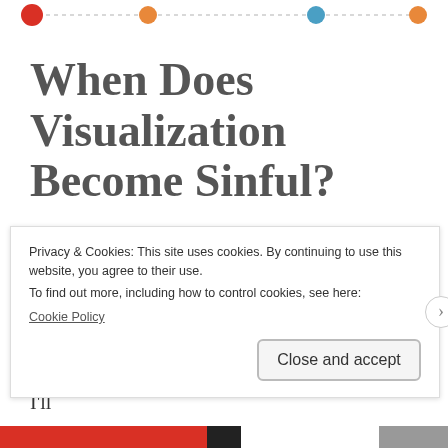[Figure (infographic): Top decorative navigation bar with colored dots (red, orange, blue, orange) connected by dotted lines on white background]
When Does Visualization Become Sinful?
A little later on in the post, we will discuss mood boards, and there’s an article from Bustle I’ll
Privacy & Cookies: This site uses cookies. By continuing to use this website, you agree to their use.
To find out more, including how to control cookies, see here:
Cookie Policy
Close and accept